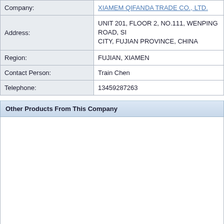| Company: | XIAMEM QIFANDA TRADE CO., LTD. |
| Address: | UNIT 201, FLOOR 2, NO.111, WENPING ROAD, SI CITY, FUJIAN PROVINCE, CHINA |
| Region: | FUJIAN, XIAMEN |
| Contact Person: | Train Chen |
| Telephone: | 13459287263 |
Other Products From This Company